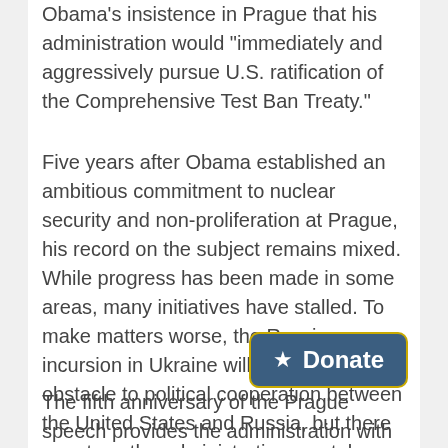Obama's insistence in Prague that his administration would "immediately and aggressively pursue U.S. ratification of the Comprehensive Test Ban Treaty."
Five years after Obama established an ambitious commitment to nuclear security and non-proliferation at Prague, his record on the subject remains mixed. While progress has been made in some areas, many initiatives have stalled. To make matters worse, the Russian incursion in Ukraine will be a major obstacle to political cooperation between the United States and Russia, but there are steps the administration can take that need not rest on immediate Russian reciprocity.
[Figure (other): A blue donate button with a star icon and 'Donate' text, outlined with a yellow/gold border]
The fifth anniversary of the Prague speech provides the administration with a chance to intensify its efforts in support of nuclear security and non-